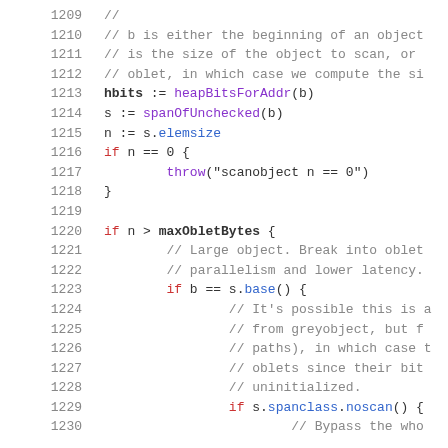[Figure (screenshot): Source code listing lines 1209-1230 in monospace font showing Go/similar language code with syntax highlighting. Line numbers in grey on left, keywords in red, function/method names in purple/blue, comments in grey.]